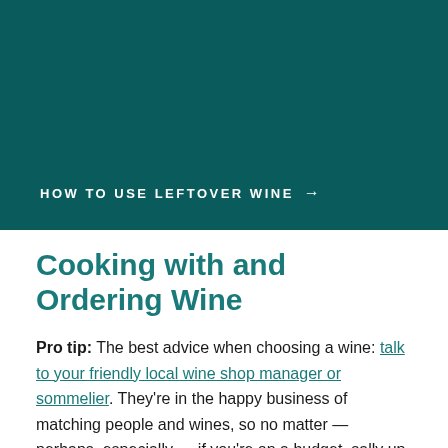[Figure (illustration): Dark teal/green hero banner with text link 'HOW TO USE LEFTOVER WINE →' at the bottom left]
Cooking with and Ordering Wine
Pro tip: The best advice when choosing a wine: talk to your friendly local wine shop manager or sommelier. They're in the happy business of matching people and wines, so no matter — perhaps, especially — if you're on a budget, sally up and ask. Remember, price alone doesn't tell any wine's whole story.